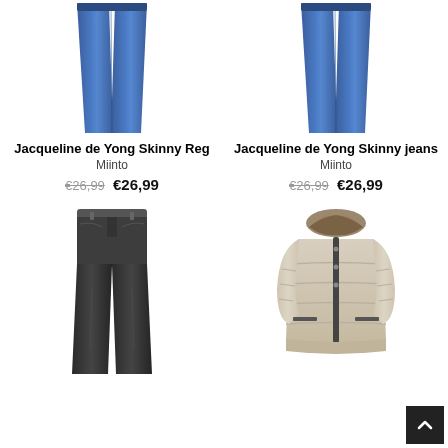[Figure (photo): Blue skinny jeans (top portion cropped), left product]
[Figure (photo): Blue skinny jeans (top portion cropped), right product]
Jacqueline de Yong Skinny Reg
Miinto
€26,99  €26,99
Jacqueline de Yong Skinny jeans
Miinto
€26,99  €26,99
[Figure (photo): Black skinny jeans, full length]
[Figure (photo): Beige puffer jacket with fur-trimmed hood]